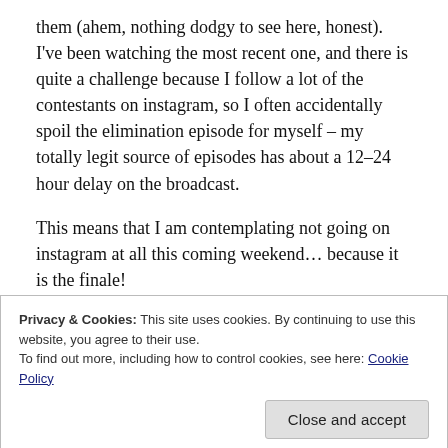them (ahem, nothing dodgy to see here, honest). I've been watching the most recent one, and there is quite a challenge because I follow a lot of the contestants on instagram, so I often accidentally spoil the elimination episode for myself – my totally legit source of episodes has about a 12–24 hour delay on the broadcast.
This means that I am contemplating not going on instagram at all this coming weekend… because it is the finale!
The thing I love about cooking is the opportunity to experiment and explore, to encounter different cultures and
Privacy & Cookies: This site uses cookies. By continuing to use this website, you agree to their use.
To find out more, including how to control cookies, see here: Cookie Policy
a reality show, so it is probably a lot more scripted than I